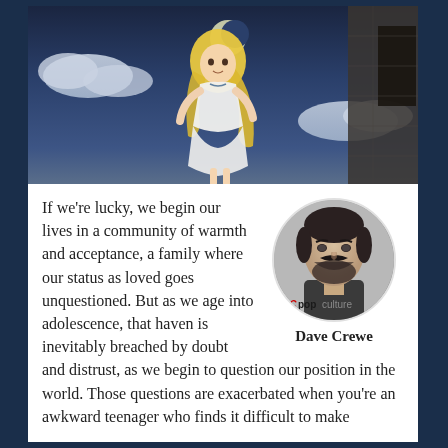[Figure (illustration): Anime-style illustration of a blonde girl in a white dress standing under a crescent moon with clouds and a dark stone building in the background. Night sky scene.]
[Figure (photo): Circular headshot photo of Dave Crewe, a man with dark hair and beard, with CCpopculture logo overlay at bottom left.]
If we're lucky, we begin our lives in a community of warmth and acceptance, a family where our status as loved goes unquestioned. But as we age into adolescence, that haven is inevitably breached by doubt and distrust, as we begin to question our position in the world. Those questions are exacerbated when you're an awkward teenager who finds it difficult to make